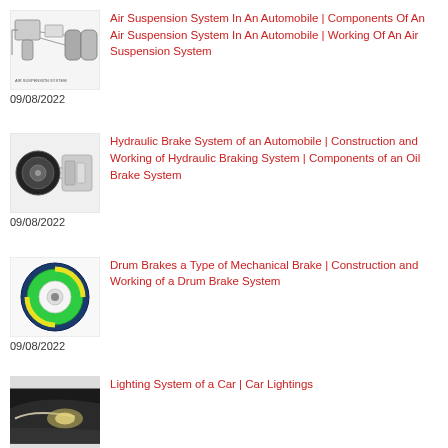[Figure (illustration): Air suspension system schematic diagram with cylinders and compressor]
Air Suspension System In An Automobile | Components Of An Air Suspension System In An Automobile | Working Of An Air Suspension System
09/08/2022
[Figure (illustration): Hydraulic brake system diagram showing disc and caliper components]
Hydraulic Brake System of an Automobile | Construction and Working of Hydraulic Braking System | Components of an Oil Brake System
09/08/2022
[Figure (illustration): Drum brake cross-section diagram showing internal components in green and blue]
Drum Brakes a Type of Mechanical Brake | Construction and Working of a Drum Brake System
09/08/2022
[Figure (photo): Car lighting system photo showing headlight]
Lighting System of a Car | Car Lightings